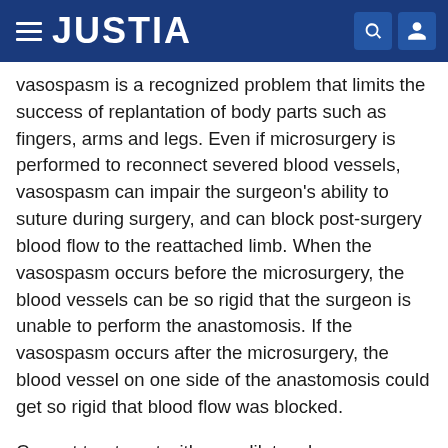JUSTIA
vasospasm is a recognized problem that limits the success of replantation of body parts such as fingers, arms and legs. Even if microsurgery is performed to reconnect severed blood vessels, vasospasm can impair the surgeon's ability to suture during surgery, and can block post-surgery blood flow to the reattached limb. When the vasospasm occurs before the microsurgery, the blood vessels can be so rigid that the surgeon is unable to perform the anastomosis. If the vasospasm occurs after the microsurgery, the blood vessel on one side of the anastomosis could get so rigid that blood flow was blocked.
Current treatment with vasodilators has a success rate around 20%, and effects are not seen for 30-60 minutes or longer. If the treatment with current therapy is a failure, tissue damage due to ischemia beyond the...